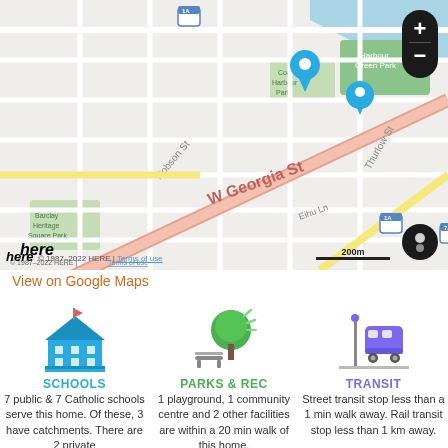[Figure (map): Street map of Coal Harbour area, Vancouver, showing W Georgia St, Robson St, Thurlow St, Barclay Heritage Square Park, Coal Harbour Park, Harbour Green Park, with a location pin marker. Scale bar shows 200m. HERE map with +/- zoom controls and layer toggle. Copyright 1987-2022 HERE.]
View on Google Maps
[Figure (illustration): Schools icon: blue building with columns and flag]
SCHOOLS
7 public & 7 Catholic schools serve this home. Of these, 3 have catchments. There are 2 private
[Figure (illustration): Parks & Rec icon: green tree with bench]
PARKS & REC
1 playground, 1 community centre and 2 other facilities are within a 20 min walk of this home.
[Figure (illustration): Transit icon: purple bus at a stop]
TRANSIT
Street transit stop less than a 1 min walk away. Rail transit stop less than 1 km away.